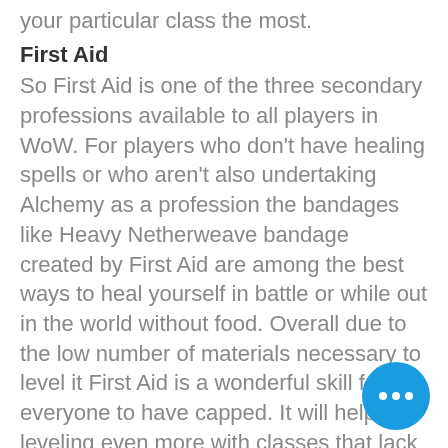your particular class the most.
First Aid
So First Aid is one of the three secondary professions available to all players in WoW. For players who don't have healing spells or who aren't also undertaking Alchemy as a profession the bandages like Heavy Netherweave bandage created by First Aid are among the best ways to heal yourself in battle or while out in the world without food. Overall due to the low number of materials necessary to level it First Aid is a wonderful skill for everyone to have capped. It will help with leveling even more with classes that lack sustain like warriors and rogues, but other classes can find it handy – like warlocks who life tap or want to heal their demon pet without using Health Funnel, out of mana paladins can also bubble bandage. Since it doesn't count toward your professional limit every class should lea... First Aid. In TBC there are two new ban... Netherweave and Heavy Netherweave